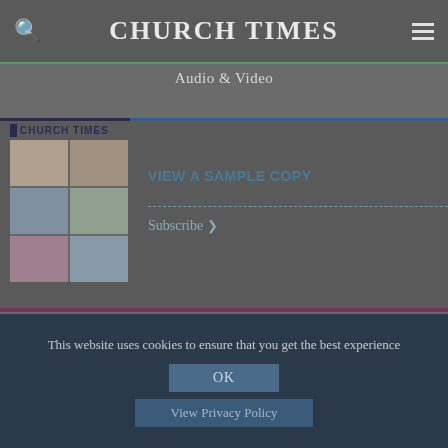CHURCH TIMES
Audio & Video
[Figure (screenshot): Church Times magazine cover collage showing multiple photo thumbnails in a grid layout]
VIEW A SAMPLE COPY
Subscribe >
This website uses cookies to ensure that you get the best experience
OK
View Privacy Policy